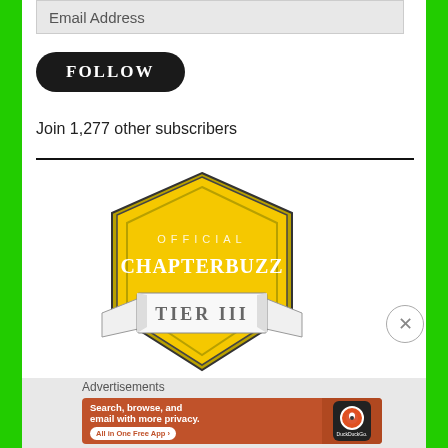Email Address
[Figure (illustration): FOLLOW button — black rounded rectangle with white serif text]
Join 1,277 other subscribers
[Figure (logo): Official ChapterBuzz Tier III badge — yellow shield with white ribbon banner]
Advertisements
[Figure (screenshot): DuckDuckGo advertisement banner: Search, browse, and email with more privacy. All in One Free App.]